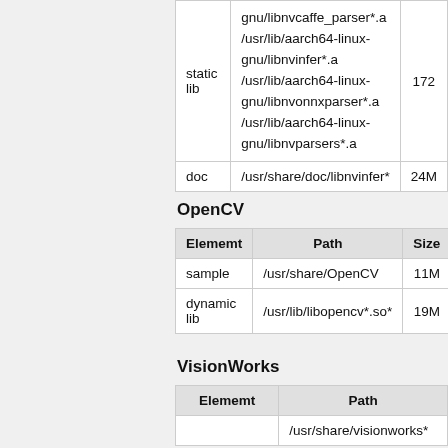| Elememt | Path | Size |
| --- | --- | --- |
| static lib | gnu/libnvcaffe_parser*.a
/usr/lib/aarch64-linux-gnu/libnvinfer*.a
/usr/lib/aarch64-linux-gnu/libnvonnxparser*.a
/usr/lib/aarch64-linux-gnu/libnvparsers*.a | 172 |
| doc | /usr/share/doc/libnvinfer* | 24M |
OpenCV
| Elememt | Path | Size |
| --- | --- | --- |
| sample | /usr/share/OpenCV | 11M |
| dynamic lib | /usr/lib/libopencv*.so* | 19M |
VisionWorks
| Elememt | Path |
| --- | --- |
|  | /usr/share/visionworks* |